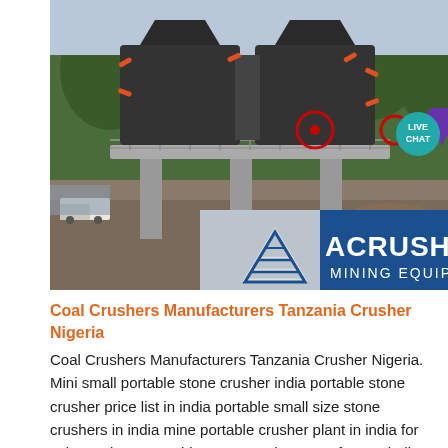[Figure (photo): Industrial mining crusher equipment mounted on elevated concrete platform with forest background. Bottom portion shows ACRUSHER MINING EQUIPMENT logo overlay with blue background and white triangle/mountain logo.]
Coal Crushers Manufacturers Tanzania Crusher Nigeria
Coal Crushers Manufacturers Tanzania Crusher Nigeria. Mini small portable stone crusher india portable stone crusher price list in india portable small size stone crushers in india mine portable crusher plant in india for sale cambuse portable stone crusher manufacture india portable stone